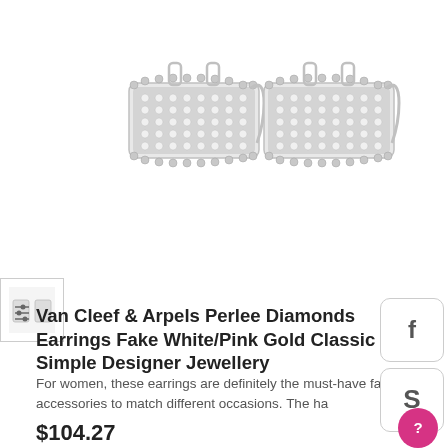[Figure (photo): Two Van Cleef & Arpels Perlee diamond earrings in white/silver tone with beaded borders and pavé diamond-style surface, shown side by side on white background]
[Figure (photo): Small thumbnail image of earrings with filter/settings icon overlay]
Van Cleef & Arpels Perlee Diamonds Earrings Fake White/Pink Gold Classic Simple Designer Jewellery
For women, these earrings are definitely the must-have fashion accessories to match different occasions. The ha
$104.27